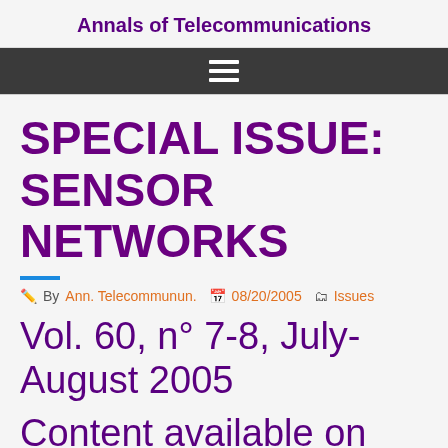Annals of Telecommunications
[Figure (other): Dark navigation bar with hamburger menu icon]
SPECIAL ISSUE: SENSOR NETWORKS
By Ann. Telecommunun.  08/20/2005  Issues
Vol. 60, n° 7-8, July-August 2005
Content available on